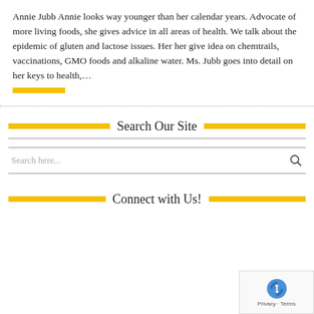Annie Jubb Annie looks way younger than her calendar years. Advocate of more living foods, she gives advice in all areas of health. We talk about the epidemic of gluten and lactose issues. Her her give idea on chemtrails, vaccinations, GMO foods and alkaline water. Ms. Jubb goes into detail on her keys to health,…
Search Our Site
Search here...
Connect with Us!